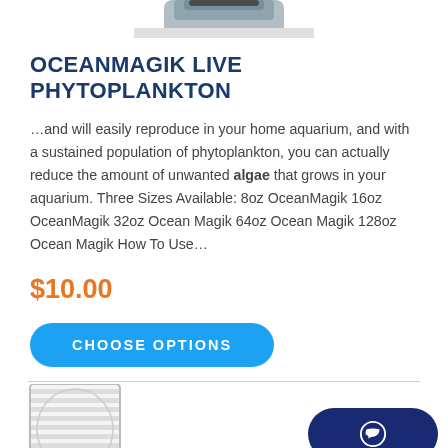[Figure (photo): Partial top view of a product bottle, cropped at the top of the page]
OCEANMAGIK LIVE PHYTOPLANKTON
…and will easily reproduce in your home aquarium, and with a sustained population of phytoplankton, you can actually reduce the amount of unwanted algae that grows in your aquarium. Three Sizes Available: 8oz OceanMagik 16oz OceanMagik 32oz Ocean Magik 64oz Ocean Magik 128oz Ocean Magik How To Use…
$10.00
[Figure (other): Blue rounded rectangle button with text CHOOSE OPTIONS]
[Figure (photo): Partial bottom image of a glass jar bottom/opening, cropped at the bottom of the page]
[Figure (other): Dark navy blue rounded rectangle chat button with a speech bubble icon]